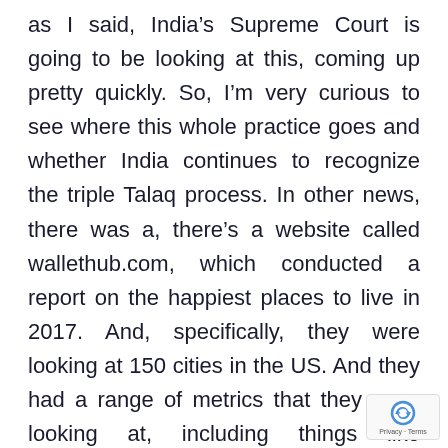as I said, India's Supreme Court is going to be looking at this, coming up pretty quickly. So, I'm very curious to see where this whole practice goes and whether India continues to recognize the triple Talaq process. In other news, there was a, there's a website called wallethub.com, which conducted a report on the happiest places to live in 2017. And, specifically, they were looking at 150 cities in the US. And they had a range of metrics that they were looking at, including things like depression rates, suicide rates, growth of income, and, relevant to our talk, divorce and separation rates. In that study, Gilbert, overall,